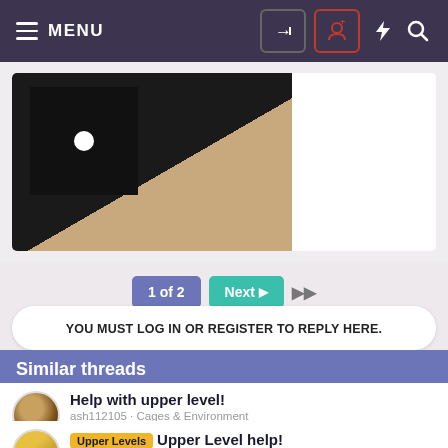MENU
[Figure (photo): A black square tile standing upright on a wooden surface with a circular hole/dot visible.]
1 of 2  Next  ▶▶
YOU MUST LOG IN OR REGISTER TO REPLY HERE.
Similar threads
Help with upper level!
ash112105 · Cages & Environment
Replies 4 · Dec 8, 2006
Upper Levels  Upper Level help!